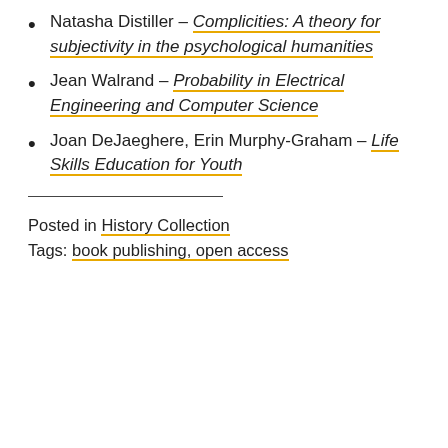Natasha Distiller – Complicities: A theory for subjectivity in the psychological humanities
Jean Walrand – Probability in Electrical Engineering and Computer Science
Joan DeJaeghere, Erin Murphy-Graham – Life Skills Education for Youth
Posted in History Collection
Tags: book publishing, open access